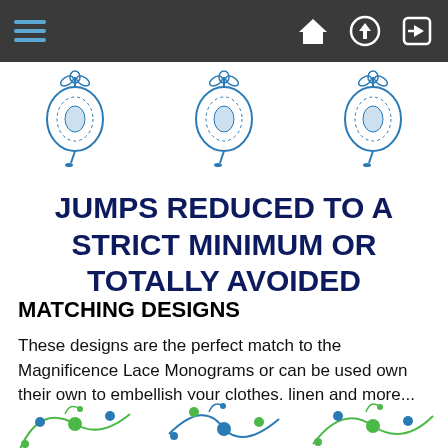Navigation bar with hamburger menu and home/upload/login icons
[Figure (illustration): Three blue decorative pomegranate/floral embroidery designs in a row]
JUMPS REDUCED TO A STRICT MINIMUM OR TOTALLY AVOIDED
MATCHING DESIGNS
These designs are the perfect match to the Magnificence Lace Monograms or can be used own their own to embellish your clothes, linen and more... Size of the designs vary from 2" to 7"
[Figure (illustration): Three colorful blue and green floral/vine embroidery designs in a row at the bottom]